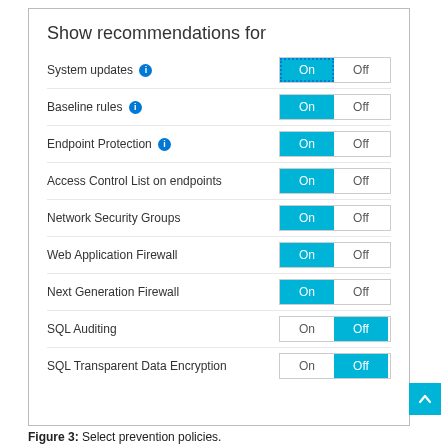Show recommendations for
System updates — On (selected), Off
Baseline rules — On (selected), Off
Endpoint Protection — On (selected), Off
Access Control List on endpoints — On (selected), Off
Network Security Groups — On (selected), Off
Web Application Firewall — On (selected), Off
Next Generation Firewall — On (selected), Off
SQL Auditing — On, Off (selected)
SQL Transparent Data Encryption — On, Off (selected)
Figure 3: Select prevention policies.